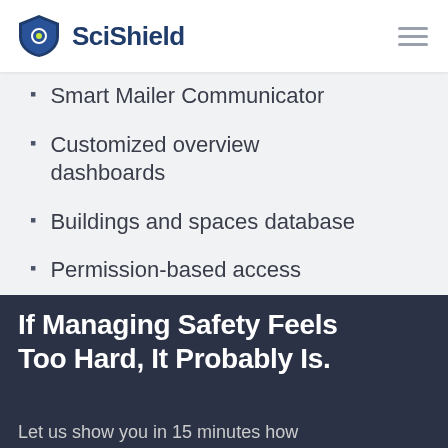SciShield
Smart Mailer Communicator
Customized overview dashboards
Buildings and spaces database
Permission-based access
If Managing Safety Feels Too Hard, It Probably Is.
Let us show you in 15 minutes how